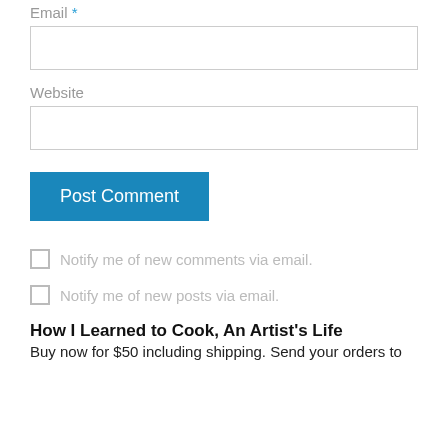Email *
Website
Post Comment
Notify me of new comments via email.
Notify me of new posts via email.
How I Learned to Cook, An Artist's Life
Buy now for $50 including shipping. Send your orders to